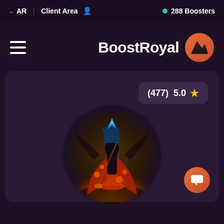AR  Client Area  288 Boosters
BoostRoyal
[Figure (screenshot): BoostRoyal website screenshot showing navigation bar with AR language selector, Client Area link, 288 Boosters online indicator, hamburger menu, BoostRoyal logo with orange mountain icon, a rating badge showing (477) 5.0 with star, a circular game character illustration of a fantasy warrior with fire and blue crown, and an orange chat button]
(477)  5.0 ★